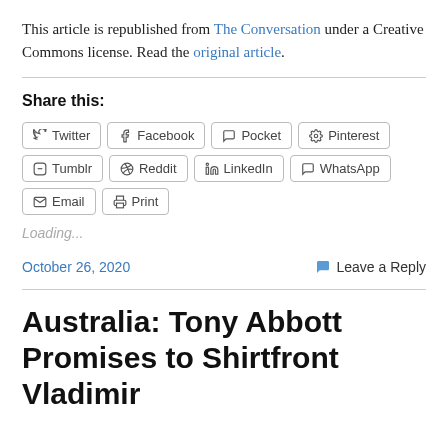This article is republished from The Conversation under a Creative Commons license. Read the original article.
Share this:
Twitter Facebook Pocket Pinterest Tumblr Reddit LinkedIn WhatsApp Email Print
Loading...
October 26, 2020   Leave a Reply
Australia: Tony Abbott Promises to Shirtfront Vladimir